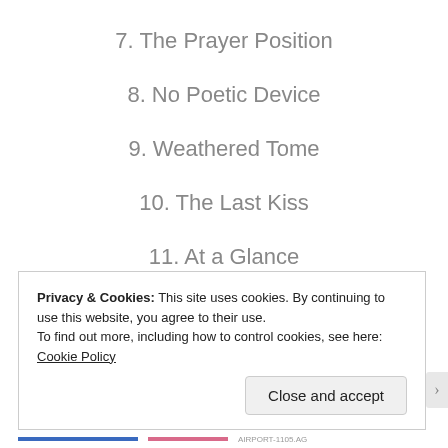7. The Prayer Position
8. No Poetic Device
9. Weathered Tome
10. The Last Kiss
11. At a Glance
12. God Called in Sick Today
Privacy & Cookies: This site uses cookies. By continuing to use this website, you agree to their use.
To find out more, including how to control cookies, see here: Cookie Policy
Close and accept